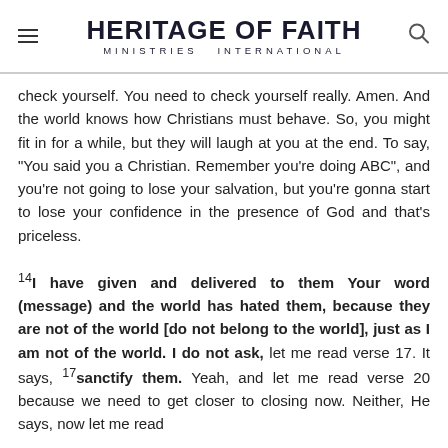HERITAGE OF FAITH MINISTRIES INTERNATIONAL
check yourself. You need to check yourself really. Amen. And the world knows how Christians must behave. So, you might fit in for a while, but they will laugh at you at the end. To say, "You said you a Christian. Remember you're doing ABC", and you're not going to lose your salvation, but you're gonna start to lose your confidence in the presence of God and that's priceless.
14I have given and delivered to them Your word (message) and the world has hated them, because they are not of the world [do not belong to the world], just as I am not of the world. I do not ask, let me read verse 17. It says, 17sanctify them. Yeah, and let me read verse 20 because we need to get closer to closing now. Neither, He says, now let me read...